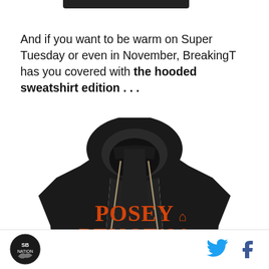[Figure (photo): Partial view of a dark object/product at the top of the page, cropped]
And if you want to be warm on Super Tuesday or even in November, BreakingT has you covered with the hooded sweatshirt edition . . .
[Figure (photo): Black hooded sweatshirt with orange 'POSEY PENCE '20 GOOD FRIENDS FOREVER' text printed on the front, displayed against a white background]
SB Nation logo | Twitter icon | Facebook icon